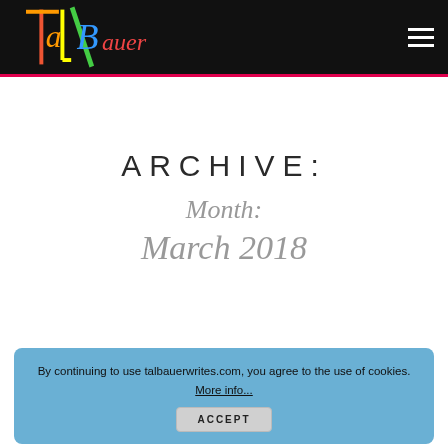Tal Bauer - talbauerwrites.com
ARCHIVE:
Month: March 2018
By continuing to use talbauerwrites.com, you agree to the use of cookies. More info... ACCEPT